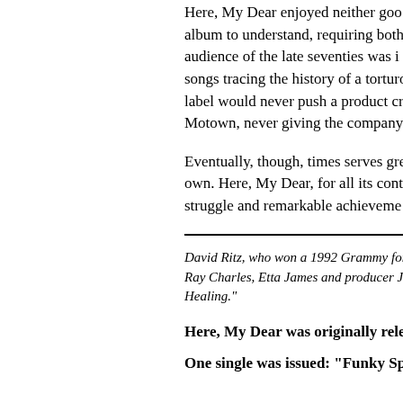Here, My Dear enjoyed neither goo... album to understand, requiring both... audience of the late seventies was i... songs tracing the history of a torturo... label would never push a product cr... Motown, never giving the company...
Eventually, though, times serves gre... own. Here, My Dear, for all its contr... struggle and remarkable achieveme...
David Ritz, who won a 1992 Grammy for lin... Ray Charles, Etta James and producer Jerr... Healing."
Here, My Dear was originally released on...
One single was issued: “Funky Space Re...